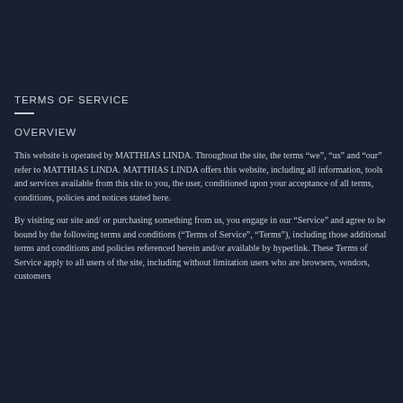TERMS OF SERVICE
OVERVIEW
This website is operated by MATTHIAS LINDA. Throughout the site, the terms “we”, “us” and “our” refer to MATTHIAS LINDA. MATTHIAS LINDA offers this website, including all information, tools and services available from this site to you, the user, conditioned upon your acceptance of all terms, conditions, policies and notices stated here.
By visiting our site and/ or purchasing something from us, you engage in our “Service” and agree to be bound by the following terms and conditions (“Terms of Service”, “Terms”), including those additional terms and conditions and policies referenced herein and/or available by hyperlink. These Terms of Service apply to all users of the site, including without limitation users who are browsers, vendors, customers